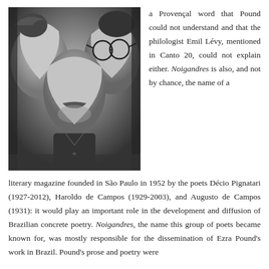[Figure (photo): Black and white photograph of three people's faces close together, two on the sides facing inward and one in the center with a mustache and beard, wearing a dark shirt.]
a Provençal word that Pound could not understand and that the philologist Emil Lévy, mentioned in Canto 20, could not explain either. Noigandres is also, and not by chance, the name of a literary magazine founded in São Paulo in 1952 by the poets Décio Pignatari (1927-2012), Haroldo de Campos (1929-2003), and Augusto de Campos (1931): it would play an important role in the development and diffusion of Brazilian concrete poetry. Noigandres, the name this group of poets became known for, was mostly responsible for the dissemination of Ezra Pound's work in Brazil. Pound's prose and poetry were